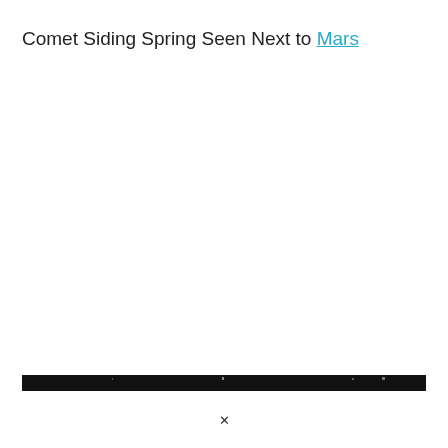Comet Siding Spring Seen Next to Mars
[Figure (photo): Dark horizontal bar representing a partially visible astronomical image, likely showing Comet Siding Spring near Mars. The image appears mostly cropped or blacked out.]